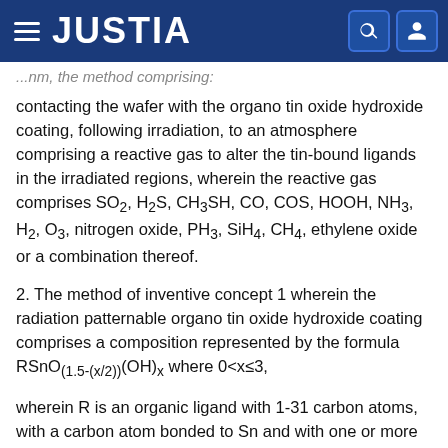JUSTIA
...nm, the method comprising:
contacting the wafer with the organo tin oxide hydroxide coating, following irradiation, to an atmosphere comprising a reactive gas to alter the tin-bound ligands in the irradiated regions, wherein the reactive gas comprises SO2, H2S, CH3SH, CO, COS, HOOH, NH3, H2, O3, nitrogen oxide, PH3, SiH4, CH4, ethylene oxide or a combination thereof.
2. The method of inventive concept 1 wherein the radiation patternable organo tin oxide hydroxide coating comprises a composition represented by the formula RSnO(1.5-(x/2))(OH)x where 0<x≤3,
wherein R is an organic ligand with 1-31 carbon atoms, with a carbon atom bonded to Sn and with one or more carbon atoms optionally substituted with one or more